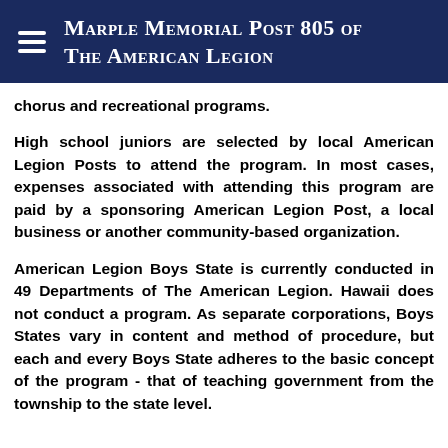Marple Memorial Post 805 of The American Legion
chorus and recreational programs.
High school juniors are selected by local American Legion Posts to attend the program. In most cases, expenses associated with attending this program are paid by a sponsoring American Legion Post, a local business or another community-based organization.
American Legion Boys State is currently conducted in 49 Departments of The American Legion. Hawaii does not conduct a program. As separate corporations, Boys States vary in content and method of procedure, but each and every Boys State adheres to the basic concept of the program - that of teaching government from the township to the state level.